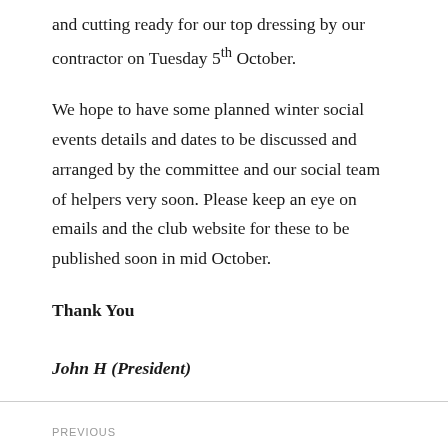and cutting ready for our top dressing by our contractor on Tuesday 5th October.
We hope to have some planned winter social events details and dates to be discussed and arranged by the committee and our social team of helpers very soon. Please keep an eye on emails and the club website for these to be published soon in mid October.
Thank You
John H (President)
PREVIOUS